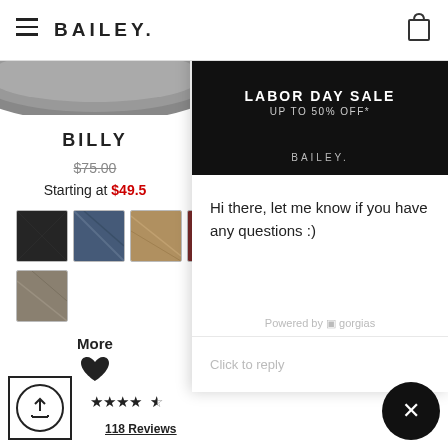BAILEY
BILLY
$75.00 Starting at $49.5
[Figure (screenshot): Color swatches: dark/black, blue, tan, red, gray]
More
[Figure (illustration): Heart icon (wishlist)]
[Figure (screenshot): Chat popup overlay with LABOR DAY SALE UP TO 50% OFF* banner and chat message]
Hi there, let me know if you have any questions :)
Powered by gorgias
Click to reply
118 Reviews
37 Review
[Figure (illustration): Upload/share button (arrow in circle in square)]
[Figure (illustration): Close button (X in dark circle)]